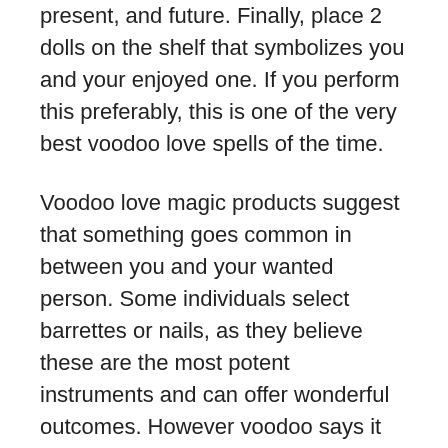bookshelf into three parts that portray your past, present, and future. Finally, place 2 dolls on the shelf that symbolizes you and your enjoyed one. If you perform this preferably, this is one of the very best voodoo love spells of the time.
Voodoo love magic products suggest that something goes common in between you and your wanted person. Some individuals select barrettes or nails, as they believe these are the most potent instruments and can offer wonderful outcomes. However voodoo says it does not take place every time. Even such tools stop working in their efficiencies sometimes. voodoo services Reputable casters state that the voodoo spell for love depends upon you for creating the magic and making the variation productive. Materials help you in the customized, however they are not whatever when magic and its fruitfulness